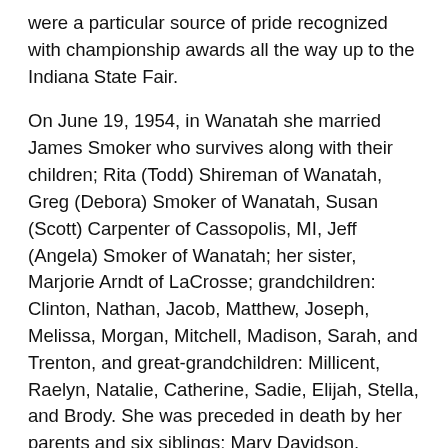were a particular source of pride recognized with championship awards all the way up to the Indiana State Fair.
On June 19, 1954, in Wanatah she married James Smoker who survives along with their children; Rita (Todd) Shireman of Wanatah, Greg (Debora) Smoker of Wanatah, Susan (Scott) Carpenter of Cassopolis, MI, Jeff (Angela) Smoker of Wanatah; her sister, Marjorie Arndt of LaCrosse; grandchildren: Clinton, Nathan, Jacob, Matthew, Joseph, Melissa, Morgan, Mitchell, Madison, Sarah, and Trenton, and great-grandchildren: Millicent, Raelyn, Natalie, Catherine, Sadie, Elijah, Stella, and Brody. She was preceded in death by her parents and six siblings: Mary Davidson,